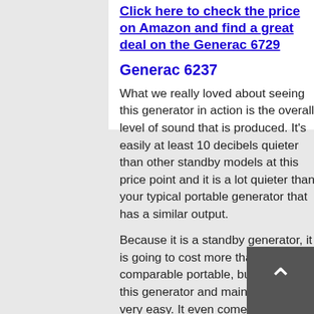Click here to check the price on Amazon and find a great deal on the Generac 6729
Generac 6237
What we really loved about seeing this generator in action is the overall level of sound that is produced. It's easily at least 10 decibels quieter than other standby models at this price point and it is a lot quieter than your typical portable generator that has a similar output.
Because it is a standby generator, it is going to cost more than a comparable portable, but installing this generator and maintaining it are very easy. It even comes with a good quality mounting pad that eliminates the need to place this